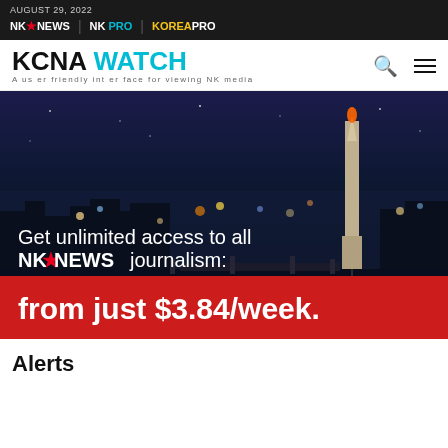AUGUST 29, 2022 | NK*NEWS | NK PRO | KOREA PRO
KCNA WATCH
A user friendly interface for viewing NK media
[Figure (photo): Night cityscape of Pyongyang with illuminated Juche Tower and city lights reflected on river, overlaid with promotional text: 'Get unlimited access to all NK*NEWS journalism: from just $3.84/week.']
Alerts